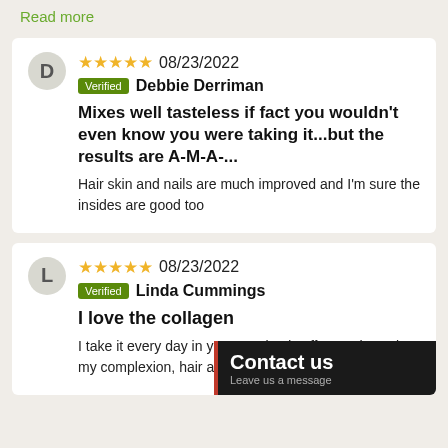Read more
★★★★★ 08/23/2022 Verified Debbie Derriman
Mixes well tasteless if fact you wouldn't even know you were taking it...but the results are A-M-A-...
Hair skin and nails are much improved and I'm sure the insides are good too
★★★★★ 08/23/2022 Verified Linda Cummings
I love the collagen
I take it every day in yogurt or iced coffee. It shows in my complexion, hair and nails.
Contact us Leave us a message